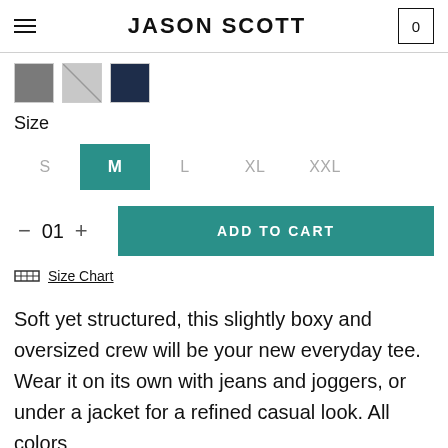JASON SCOTT
[Figure (other): Three color swatches: dark gray, light gray (diagonal split), and navy blue]
Size
[Figure (other): Size selector with options S, M (selected, teal background), L, XL, XXL]
[Figure (other): Quantity control showing minus, 01, plus and ADD TO CART teal button]
Size Chart
Soft yet structured, this slightly boxy and oversized crew will be your new everyday tee. Wear it on its own with jeans and joggers, or under a jacket for a refined casual look. All colors